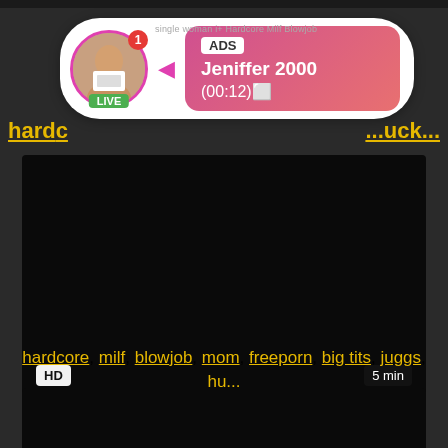[Figure (screenshot): Ad popup notification with live avatar, ADS label, username Jeniffer 2000, timer (00:12)]
hard...  ...uck...
[Figure (screenshot): Black video thumbnail with HD badge and 5 min duration]
Large Chap Fucks Hardcore Milf Blowjob
hardcore, milf, blowjob, mom, freeporn, big tits, juggs, hu...
[Figure (screenshot): Black video thumbnail partial at bottom]